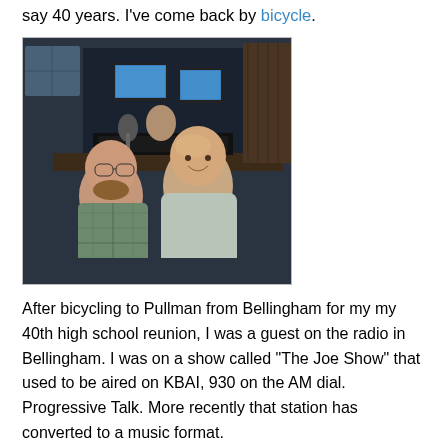say 40 years. I've come back by bicycle.
[Figure (photo): Two men sitting in a radio studio. One man on the left wearing a plaid shirt with glasses, one man on the right wearing a light-colored hoodie. Radio equipment, monitors, and soundproofing visible in the background.]
After bicycling to Pullman from Bellingham for my my 40th high school reunion, I was a guest on the radio in Bellingham. I was on a show called "The Joe Show" that used to be aired on KBAI, 930 on the AM dial. Progressive Talk. More recently that station has converted to a music format.
When it came time to register for my first freshman year classes, there was a glitch. Administration placed me in a program called Vicoed since I had shown interest in communications. This happened even though I had written